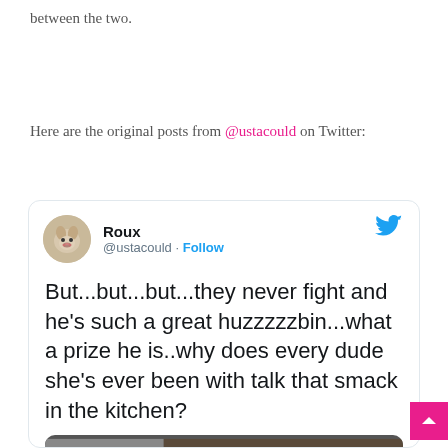between the two.
Here are the original posts from @ustacould on Twitter:
[Figure (screenshot): Embedded tweet from @ustacould (Roux) reading: 'But...but...but...they never fight and he's such a great huzzzzzbin...what a prize he is..why does every dude she's ever been with talk that smack in the kitchen?' with a video thumbnail showing 'Watch on Twitter' button and a pink scroll-to-top button.]